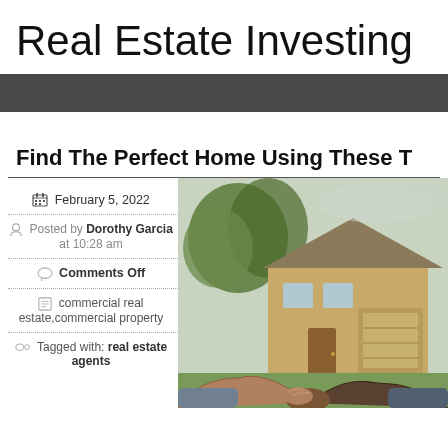Real Estate Investing
[Figure (other): Dark navigation bar]
Find The Perfect Home Using These T
February 5, 2022
Posted by Dorothy Garcia at 10:28 am
Comments Off
commercial real estate,commercial property
Tagged with: real estate agents
[Figure (photo): Photo of a house exterior with a handshake in the foreground between two people]